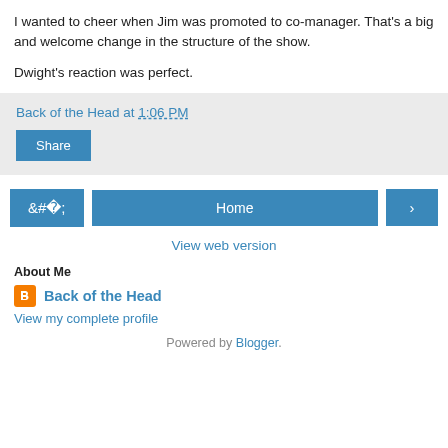I wanted to cheer when Jim was promoted to co-manager. That's a big and welcome change in the structure of the show.
Dwight's reaction was perfect.
Back of the Head at 1:06 PM
Share
‹  Home  › View web version
About Me
Back of the Head
View my complete profile
Powered by Blogger.